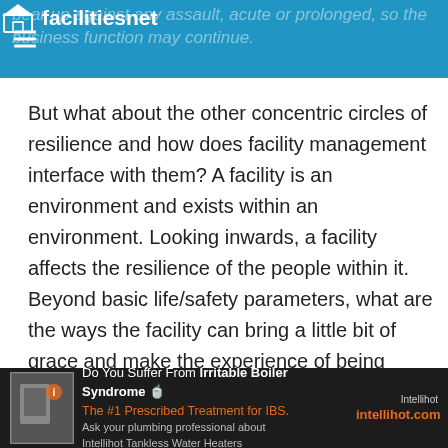bear up against any assault, acute or prolonged, so the business function may continue. | facilitiesnet
But what about the other concentric circles of resilience and how does facility management interface with them? A facility is an environment and exists within an environment. Looking inwards, a facility affects the resilience of the people within it. Beyond basic life/safety parameters, what are the ways the facility can bring a little bit of grace and make the experience of being inside of it a little less draining? The doors article discusses ways to move to touchfree entrances, allowing health concerns and
[Figure (other): Advertisement banner for Intellihot Tankless Water Heaters. Text reads: Do You Suffer From Irritable Boiler Syndrome - The #1 Prescribed Treatment for IBS. Ask your plumbing professional about Intellihot Tankless Water Heaters. intellihot.com]